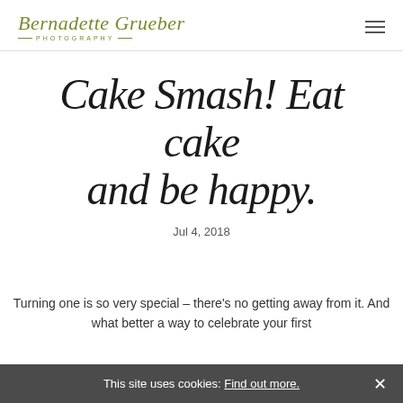Bernadette Grueber Photography
Cake Smash! Eat cake and be happy.
Jul 4, 2018
Turning one is so very special – there's no getting away from it. And what better a way to celebrate your first
This site uses cookies: Find out more.